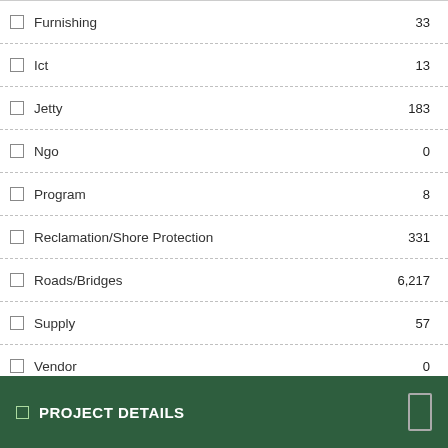Furnishing  33
Ict  13
Jetty  183
Ngo  0
Program  8
Reclamation/Shore Protection  331
Roads/Bridges  6,217
Supply  57
Vendor  0
Water Supply  1,630
PROJECT DETAILS